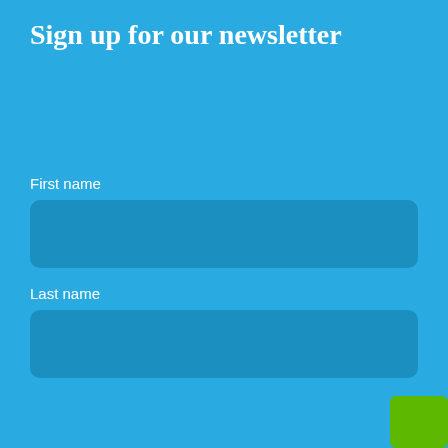Sign up for our newsletter
First name
Last name
Like most websites we use cookies to deliver a personalised service. To use the website as intended please accept cookies. Please see our privacy and cookie policy for more information
Accept Cookies